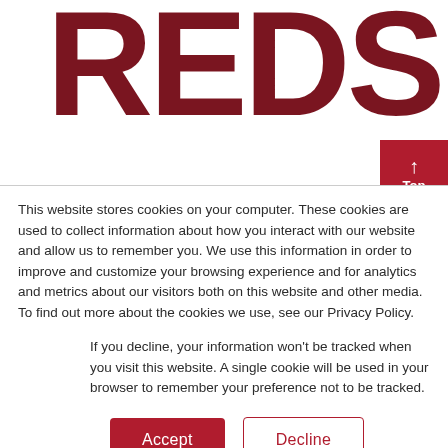[Figure (logo): REDS logo in large dark red bold letters, partially cropped at top]
This website stores cookies on your computer. These cookies are used to collect information about how you interact with our website and allow us to remember you. We use this information in order to improve and customize your browsing experience and for analytics and metrics about our visitors both on this website and other media. To find out more about the cookies we use, see our Privacy Policy.
If you decline, your information won’t be tracked when you visit this website. A single cookie will be used in your browser to remember your preference not to be tracked.
Accept   Decline